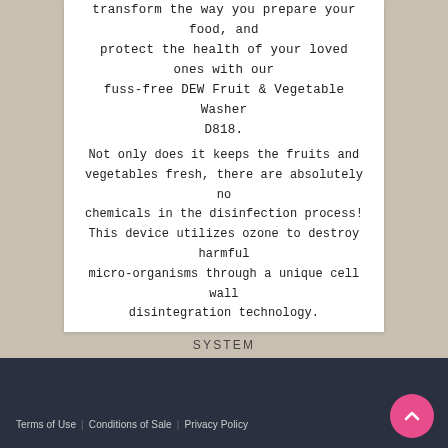transform the way you prepare your food, and protect the health of your loved ones with our fuss-free DEW Fruit & Vegetable Washer D818.
Not only does it keeps the fruits and vegetables fresh, there are absolutely no chemicals in the disinfection process! This device utilizes ozone to destroy harmful micro-organisms through a unique cell wall disintegration technology.
SYSTEM
BUY NOW
Terms of Use | Conditions of Sale | Privacy Policy